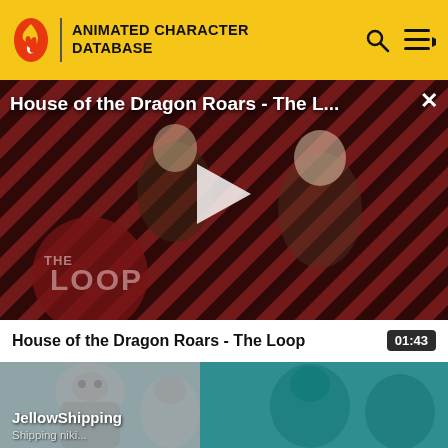ANIMATED CHARACTER DATABASE
[Figure (screenshot): Video player showing 'House of the Dragon Roars - The L...' with play button overlay, diagonal red and black stripe background with two characters from House of the Dragon, and 'THE LOOP' logo in the lower left. Close (X) button in upper right.]
House of the Dragon Roars - The Loop  01:43
[Figure (screenshot): Animated video thumbnail with teal and grey illustrated characters, overlaid with text 'JellowShipping']